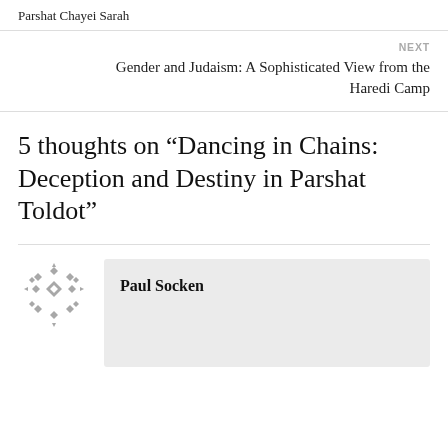Parshat Chayei Sarah
NEXT
Gender and Judaism: A Sophisticated View from the Haredi Camp
5 thoughts on “Dancing in Chains: Deception and Destiny in Parshat Toldot”
Paul Socken